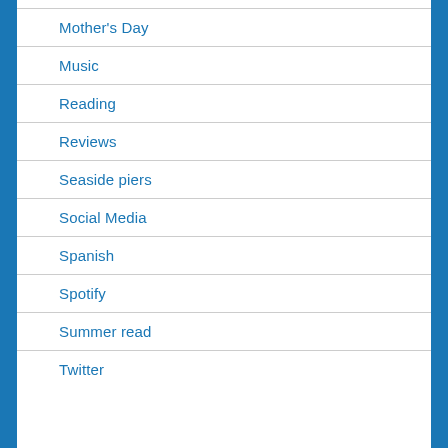Mother's Day
Music
Reading
Reviews
Seaside piers
Social Media
Spanish
Spotify
Summer read
Twitter